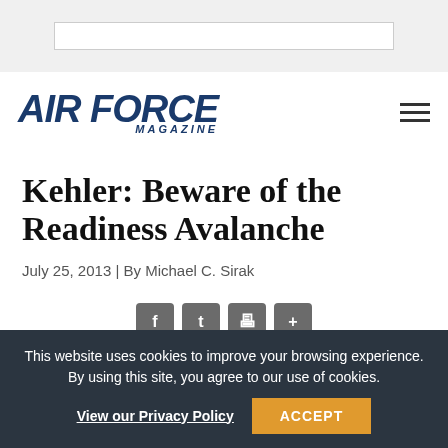[Figure (logo): Air Force Magazine logo in dark navy blue italic bold text with MAGAZINE subtitle]
Kehler: Beware of the Readiness Avalanche
July 25, 2013 | By Michael C. Sirak
[Figure (infographic): Social share buttons: Facebook, Twitter, Print, and More (+)]
This website uses cookies to improve your browsing experience. By using this site, you agree to our use of cookies. View our Privacy Policy ACCEPT